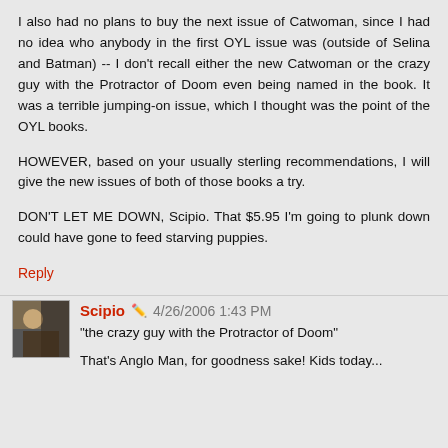I also had no plans to buy the next issue of Catwoman, since I had no idea who anybody in the first OYL issue was (outside of Selina and Batman) -- I don't recall either the new Catwoman or the crazy guy with the Protractor of Doom even being named in the book. It was a terrible jumping-on issue, which I thought was the point of the OYL books.
HOWEVER, based on your usually sterling recommendations, I will give the new issues of both of those books a try.
DON'T LET ME DOWN, Scipio. That $5.95 I'm going to plunk down could have gone to feed starving puppies.
Reply
Scipio 4/26/2006 1:43 PM
"the crazy guy with the Protractor of Doom"
That's Anglo Man, for goodness sake! Kids today...